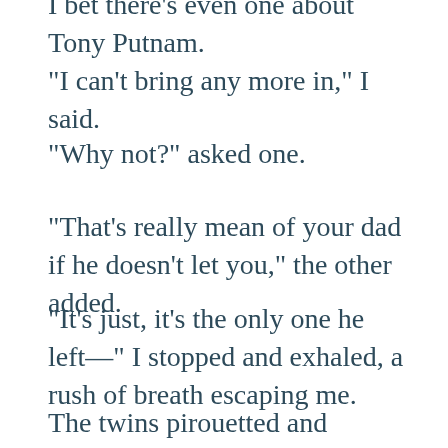I bet there's even one about Tony Putnam.
"I can't bring any more in," I said.
"Why not?" asked one.
"That's really mean of your dad if he doesn't let you," the other added.
"It's just, it's the only one he left—" I stopped and exhaled, a rush of breath escaping me.
The twins pirouetted and examined me. They